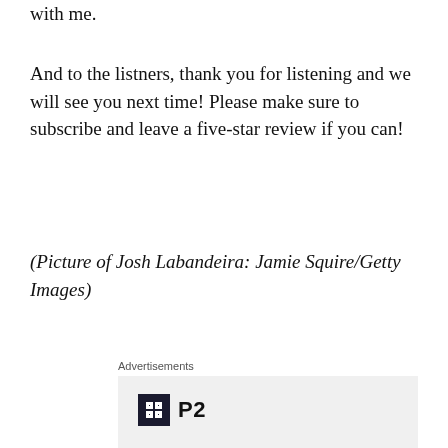with me.
And to the listners, thank you for listening and we will see you next time! Please make sure to subscribe and leave a five-star review if you can!
(Picture of Josh Labandeira: Jamie Squire/Getty Images)
[Figure (infographic): Advertisement for P2 with logo and tagline 'Getting your team on the same page is easy. And free.']